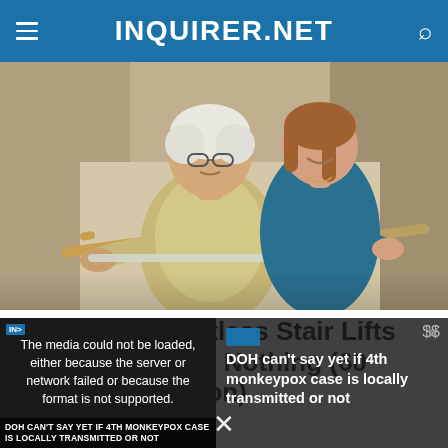INQUIRER.NET
[Figure (photo): An elderly woman riding a stairlift chair, gripping handrails, with a younger woman in a teal/blue top smiling behind her on a staircase.]
These New Shaftless Stair Lifts Now Cost Nearly Nothing (60 Minute Installation)
[Figure (screenshot): A video player overlay showing an error message: 'The media could not be loaded, either because the server or network failed or because the format is not supported.' On the right side is text reading 'DOH can't say yet if 4th monkeypox case is locally transmitted or not'. A caption bar at the bottom reads 'DOH CAN'T SAY YET IF 4TH MONKEYPOX CASE IS LOCALLY TRANSMITTED OR NOT'. There is an X close button at the bottom center and a dismiss button top right.]